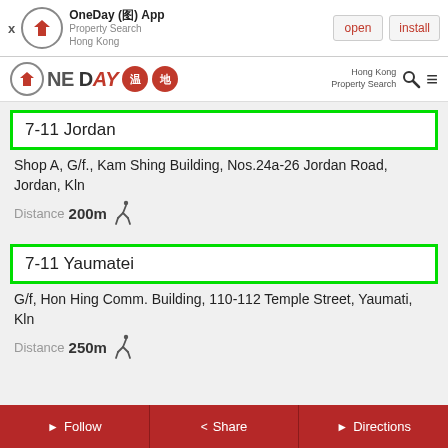OneDay (III) App — Property Search Hong Kong — open | install
[Figure (screenshot): OneDay app logo and navigation bar with Hong Kong Property Search]
7-11 Jordan
Shop A, G/f., Kam Shing Building, Nos.24a-26 Jordan Road, Jordan, Kln
Distance 200m
7-11 Yaumatei
G/f, Hon Hing Comm. Building, 110-112 Temple Street, Yaumati, Kln
Distance 250m
Follow   Share   Directions